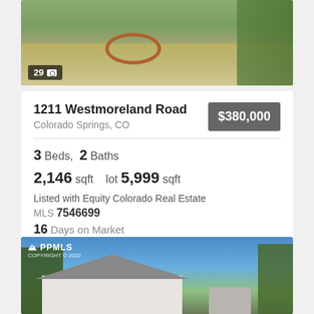[Figure (photo): Aerial/overhead photo of property yard with circular garden border, dry grass, and trees on the right side. Badge shows '29' with camera icon.]
1211 Westmoreland Road
Colorado Springs, CO
$380,000
3 Beds,  2 Baths
2,146 sqft   lot 5,999 sqft
Listed with Equity Colorado Real Estate
MLS 7546699
16 Days on Market
View Virtual Tour
[Figure (photo): Street-level photo of a single-story ranch house with gray roof, white/light siding, attached garage, trees in background, blue sky. PPMLS COPYRIGHT © 2022 watermark visible.]